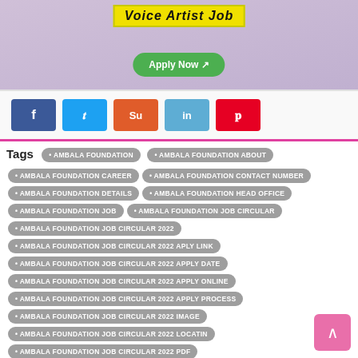[Figure (photo): Banner image showing a person at a desk with 'Voice Artist Job' title in yellow italic text and a green 'Apply Now' button]
[Figure (infographic): Social sharing buttons: Facebook (blue), Twitter (light blue), StumbleUpon (orange), LinkedIn (light blue), Pinterest (red)]
Tags
AMBALA FOUNDATION
AMBALA FOUNDATION ABOUT
AMBALA FOUNDATION CAREER
AMBALA FOUNDATION CONTACT NUMBER
AMBALA FOUNDATION DETAILS
AMBALA FOUNDATION HEAD OFFICE
AMBALA FOUNDATION JOB
AMBALA FOUNDATION JOB CIRCULAR
AMBALA FOUNDATION JOB CIRCULAR 2022
AMBALA FOUNDATION JOB CIRCULAR 2022 APLY LINK
AMBALA FOUNDATION JOB CIRCULAR 2022 APPLY DATE
AMBALA FOUNDATION JOB CIRCULAR 2022 APPLY ONLINE
AMBALA FOUNDATION JOB CIRCULAR 2022 APPLY PROCESS
AMBALA FOUNDATION JOB CIRCULAR 2022 IMAGE
AMBALA FOUNDATION JOB CIRCULAR 2022 LOCATIN
AMBALA FOUNDATION JOB CIRCULAR 2022 PDF
AMBALA FOUNDATION JOB CIRCULAR 2022 SUMMARY
AMBALA FOUNDATION LOCATION
AMBALA FOUNDATION NGO